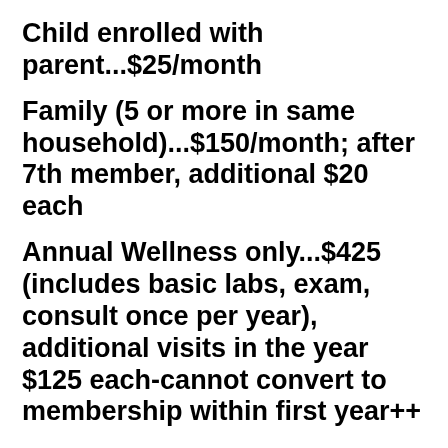Child enrolled with parent...$25/month
Family (5 or more in same household)...$150/month; after 7th member, additional $20 each
Annual Wellness only...$425 (includes basic labs, exam, consult once per year), additional visits in the year $125 each-cannot convert to membership within first year++
•
Small Business...$50/month per employee++ (5+ employees, 15% off enrollment fee)